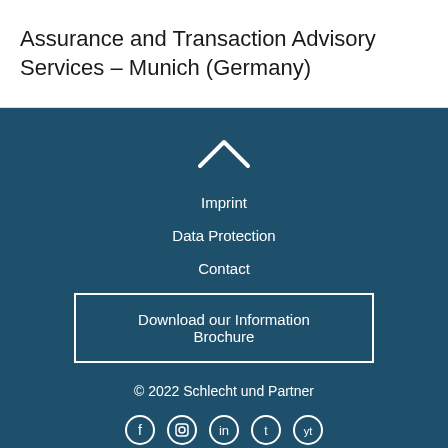Assurance and Transaction Advisory Services – Munich (Germany)
Imprint
Data Protection
Contact
Download our Information Brochure
© 2022 Schlecht und Partner